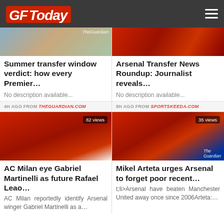GFToday
[Figure (photo): Newspaper/magazine image related to Premier League transfer window]
Summer transfer window verdict: how every Premier...
No description available...
4H AGO FROM THEGUARDIAN.COM
[Figure (photo): Arsenal football players in red and white kit]
Arsenal Transfer News Roundup: Journalist reveals...
No description available...
8H AGO FROM SPORTSKEEDA.COM
[Figure (photo): Gabriel Martinelli celebrating in Arsenal kit, 82 views]
AC Milan eye Gabriel Martinelli as future Rafael Leao...
AC Milan reportedly identify Arsenal winger Gabriel Martinelli as a...
[Figure (photo): Arsenal players celebrating together, 35 views, The Guardian branding]
Mikel Arteta urges Arsenal to forget poor recent...
t;li>Arsenal have beaten Manchester United away once since 2006Arteta:...